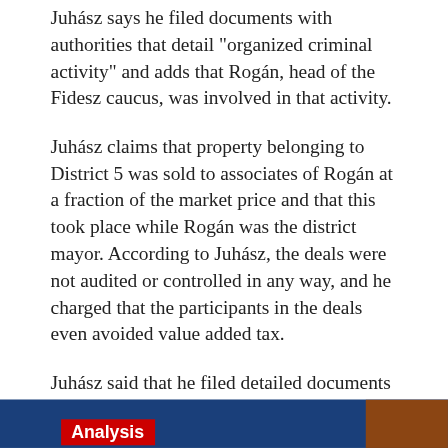Juhász says he filed documents with authorities that detail "organized criminal activity" and adds that Rogán, head of the Fidesz caucus, was involved in that activity.
Juhász claims that property belonging to District 5 was sold to associates of Rogán at a fraction of the market price and that this took place while Rogán was the district mayor. According to Juhász, the deals were not audited or controlled in any way, and he charged that the participants in the deals even avoided value added tax.
Juhász said that he filed detailed documents on these charges with the police and he has yet to hear about any a[ction]...
"[...] o[...]s
[Figure (screenshot): Cookie consent banner overlay with dark navy background. Text reads: 'This website uses cookies to ensure you get the best experience on our website.' with a 'Learn more' link. Two buttons at the bottom: 'Decline' on the left and 'Allow cookies' on the right with light grey background.]
[Figure (screenshot): Bottom of page showing a dark blue bar with a red 'Analysis' label badge and a brown section on the right.]